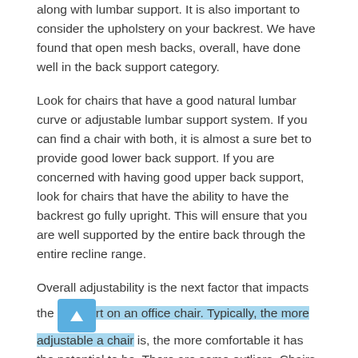along with lumbar support. It is also important to consider the upholstery on your backrest. We have found that open mesh backs, overall, have done well in the back support category.
Look for chairs that have a good natural lumbar curve or adjustable lumbar support system. If you can find a chair with both, it is almost a sure bet to provide good lower back support. If you are concerned with having good upper back support, look for chairs that have the ability to have the backrest go fully upright. This will ensure that you are well supported by the entire back through the entire recline range.
Overall adjustability is the next factor that impacts the comfort on an office chair. Typically, the more adjustable a chair is, the more comfortable it has the potential to be. There are some outliers. Chairs that have weight